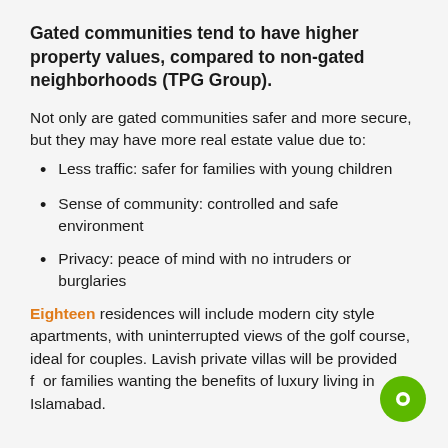Gated communities tend to have higher property values, compared to non-gated neighborhoods (TPG Group).
Not only are gated communities safer and more secure, but they may have more real estate value due to:
Less traffic: safer for families with young children
Sense of community: controlled and safe environment
Privacy: peace of mind with no intruders or burglaries
Eighteen residences will include modern city style apartments, with uninterrupted views of the golf course, ideal for couples. Lavish private villas will be provided for families wanting the benefits of luxury living in Islamabad.